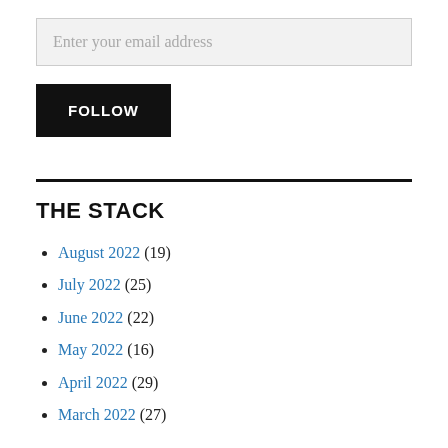Enter your email address
FOLLOW
THE STACK
August 2022 (19)
July 2022 (25)
June 2022 (22)
May 2022 (16)
April 2022 (29)
March 2022 (27)